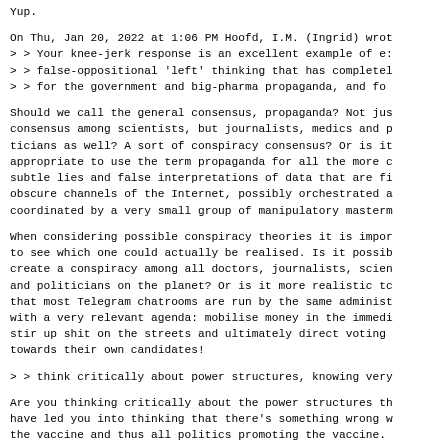Yup.
On Thu, Jan 20, 2022 at 1:06 PM Hoofd, I.M. (Ingrid) wrot
> > Your knee-jerk response is an excellent example of e:
> > false-oppositional 'left' thinking that has completel
> > for the government and big-pharma propaganda, and fo
Should we call the general consensus, propaganda? Not jus
consensus among scientists, but journalists, medics and p
ticians as well? A sort of conspiracy consensus? Or is it
appropriate to use the term propaganda for all the more c
subtle lies and false interpretations of data that are fi
obscure channels of the Internet, possibly orchestrated a
coordinated by a very small group of manipulatory masterm
When considering possible conspiracy theories it is impor
to see which one could actually be realised. Is it possib
create a conspiracy among all doctors, journalists, scien
and politicians on the planet? Or is it more realistic tc
that most Telegram chatrooms are run by the same administ
with a very relevant agenda: mobilise money in the immedi
stir up shit on the streets and ultimately direct voting
towards their own candidates!
> > think critically about power structures, knowing very
Are you thinking critically about the power structures th
have led you into thinking that there's something wrong w
the vaccine and thus all politics promoting the vaccine.